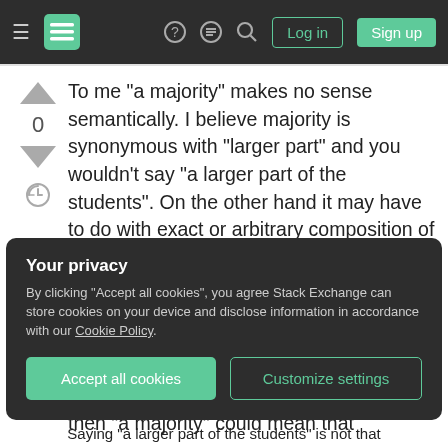Stack Exchange navigation bar with hamburger menu, logo, help, chat, search icons, Log in and Sign up buttons
To me "a majority" makes no sense semantically. I believe majority is synonymous with "larger part" and you wouldn't say "a larger part of the students". On the other hand it may have to do with exact or arbitrary composition of the pieces of a whole. Say, if you had a very small class of students (just 5 people) and three voted for something and you knew who they were just didn't want to list them all you could say "the majority" whereas if the voting was anonymous then "a majority" could mean that
Your privacy
By clicking "Accept all cookies", you agree Stack Exchange can store cookies on your device and disclose information in accordance with our Cookie Policy.
Accept all cookies
Customize settings
Saying "a larger part of the students" is not that